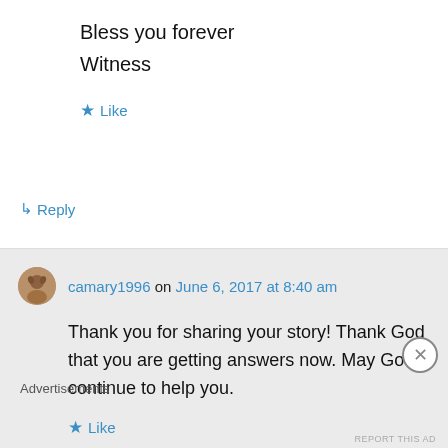Bless you forever
Witness
★ Like
↳ Reply
camary1996 on June 6, 2017 at 8:40 am
Thank you for sharing your story! Thank God that you are getting answers now. May God continue to help you.
★ Like
Advertisements
REPORT THIS AD